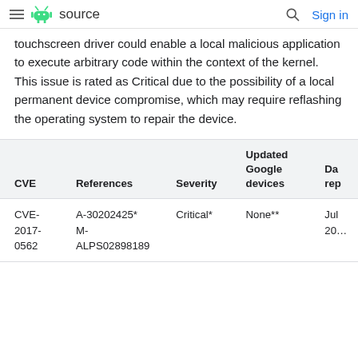≡ [Android logo] source   🔍 Sign in
touchscreen driver could enable a local malicious application to execute arbitrary code within the context of the kernel. This issue is rated as Critical due to the possibility of a local permanent device compromise, which may require reflashing the operating system to repair the device.
| CVE | References | Severity | Updated Google devices | Da rep |
| --- | --- | --- | --- | --- |
| CVE-2017-0562 | A-30202425* M-ALPS02898189 | Critical* | None** | Jul 20 |